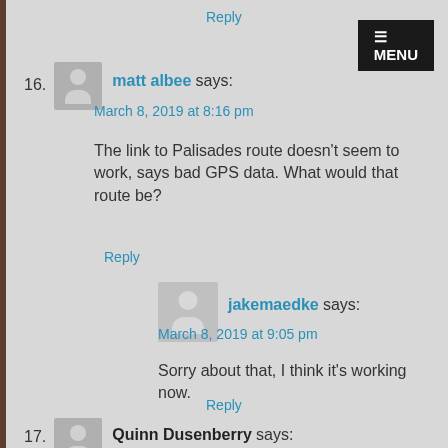Reply
16.
matt albee says:
March 8, 2019 at 8:16 pm
The link to Palisades route doesn't seem to work, says bad GPS data. What would that route be?
Reply
jakemaedke says:
March 8, 2019 at 9:05 pm
Sorry about that, I think it's working now.
Reply
17.
Quinn Dusenberry says:
March 10, 2019 at 1:06 pm